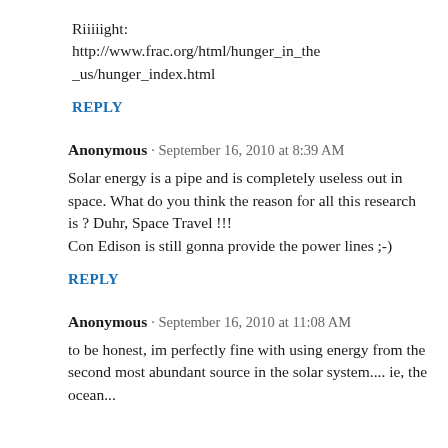Riiiiight:
http://www.frac.org/html/hunger_in_the_us/hunger_index.html
REPLY
Anonymous · September 16, 2010 at 8:39 AM
Solar energy is a pipe and is completely useless out in space. What do you think the reason for all this research is ? Duhr, Space Travel !!!
Con Edison is still gonna provide the power lines ;-)
REPLY
Anonymous · September 16, 2010 at 11:08 AM
to be honest, im perfectly fine with using energy from the second most abundant source in the solar system.... ie, the ocean...